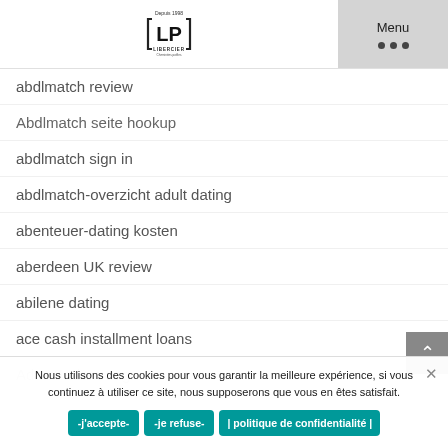[Figure (logo): LP Libercier logo with 'Depuis 1998' text and bracket design]
Menu
abdlmatch review
Abdlmatch seite hookup
abdlmatch sign in
abdlmatch-overzicht adult dating
abenteuer-dating kosten
aberdeen UK review
abilene dating
ace cash installment loans
Adam4adam aag
Adam4adam en kazmi
Nous utilisons des cookies pour vous garantir la meilleure expérience, si vous continuez à utiliser ce site, nous supposerons que vous en êtes satisfait.
-j'accepte-
-je refuse-
| politique de confidentialité |